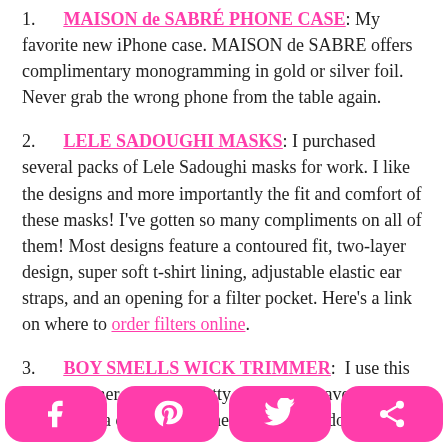1.  MAISON de SABRÉ PHONE CASE: My favorite new iPhone case. MAISON de SABRE offers complimentary monogramming in gold or silver foil. Never grab the wrong phone from the table again.
2.  LELE SADOUGHI MASKS: I purchased several packs of Lele Sadoughi masks for work. I like the designs and more importantly the fit and comfort of these masks! I've gotten so many compliments on all of them! Most designs feature a contoured fit, two-layer design, super soft t-shirt lining, adjustable elastic ear straps, and an opening for a filter pocket. Here's a link on where to order filters online.
3.  BOY SMELLS WICK TRIMMER:  I use this wick trimmer which is pretty enough to leave out by candles on a countertop. The first thing to do once